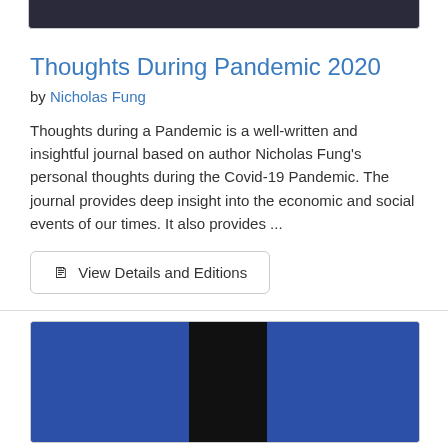[Figure (photo): Top portion of a dark image, partially cropped, showing a dark blue/black scene]
Thoughts During Pandemic 2020
by Nicholas Fung
Thoughts during a Pandemic is a well-written and insightful journal based on author Nicholas Fung's personal thoughts during the Covid-19 Pandemic. The journal provides deep insight into the economic and social events of our times. It also provides ...
View Details and Editions
[Figure (photo): Bottom image partially visible showing a blue and black color block pattern, likely a book cover]